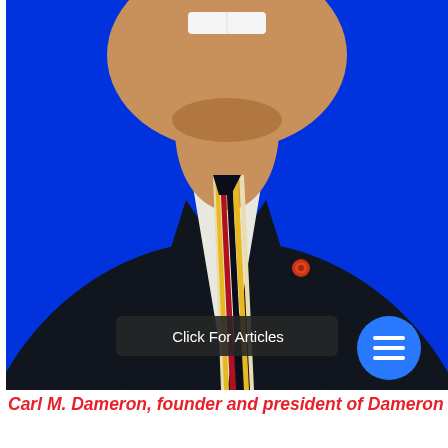[Figure (photo): Professional headshot of Carl M. Dameron, a man wearing a dark navy suit jacket with a striped tie (yellow, red, black, cream diagonal stripes) and a small orange/red lapel pin, against a bright blue background. A 'Click For Articles' overlay bar with a blue circular icon is visible at the bottom of the photo.]
Carl M. Dameron, founder and president of Dameron